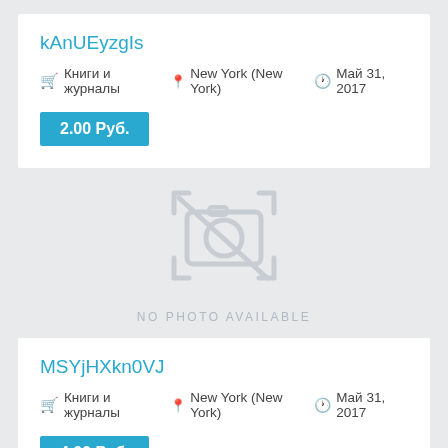kAnUEyzgIs
🛒 Книги и журналы 📍 New York (New York) 🕐 Май 31, 2017
2.00 Руб.
[Figure (illustration): No photo available placeholder icon — camera with a slash through it, gray color, with text 'NO PHOTO AVAILABLE' below]
MSYjHXkn0VJ
🛒 Книги и журналы 📍 New York (New York) 🕐 Май 31, 2017
4.00 Руб.